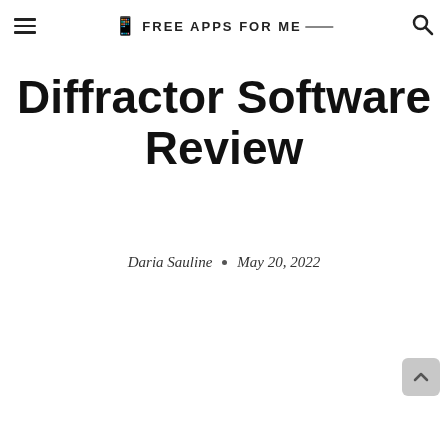Free Apps For Me
Diffractor Software Review
Daria Sauline · May 20, 2022